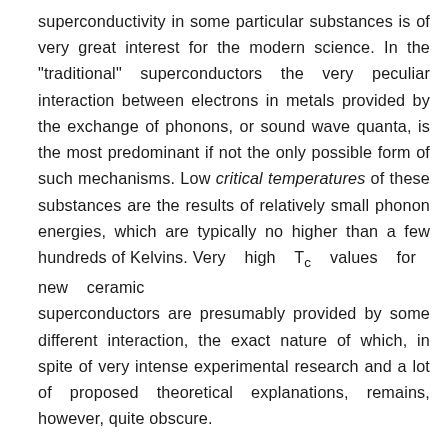superconductivity in some particular substances is of very great interest for the modern science. In the "traditional" superconductors the very peculiar interaction between electrons in metals provided by the exchange of phonons, or sound wave quanta, is the most predominant if not the only possible form of such mechanisms. Low critical temperatures of these substances are the results of relatively small phonon energies, which are typically no higher than a few hundreds of Kelvins. Very high T_c values for new ceramic superconductors are presumably provided by some different interaction, the exact nature of which, in spite of very intense experimental research and a lot of proposed theoretical explanations, remains, however, quite obscure.